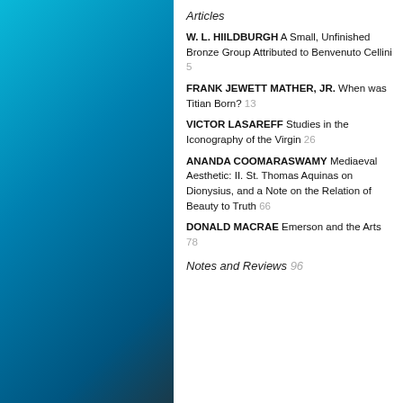Articles
W. L. HIILDBURGH A Small, Unfinished Bronze Group Attributed to Benvenuto Cellini 5
FRANK JEWETT MATHER, JR. When was Titian Born? 13
VICTOR LASAREFF Studies in the Iconography of the Virgin 26
ANANDA COOMARASWAMY Mediaeval Aesthetic: II. St. Thomas Aquinas on Dionysius, and a Note on the Relation of Beauty to Truth 66
DONALD MACRAE Emerson and the Arts 78
Notes and Reviews 96